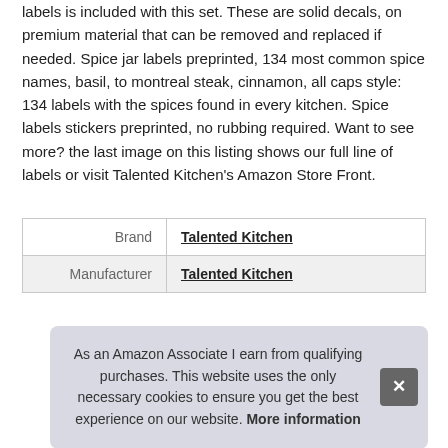labels is included with this set. These are solid decals, on premium material that can be removed and replaced if needed. Spice jar labels preprinted, 134 most common spice names, basil, to montreal steak, cinnamon, all caps style: 134 labels with the spices found in every kitchen. Spice labels stickers preprinted, no rubbing required. Want to see more? the last image on this listing shows our full line of labels or visit Talented Kitchen's Amazon Store Front.
| Brand | Talented Kitchen |
| Manufacturer | Talented Kitchen |
As an Amazon Associate I earn from qualifying purchases. This website uses the only necessary cookies to ensure you get the best experience on our website. More information